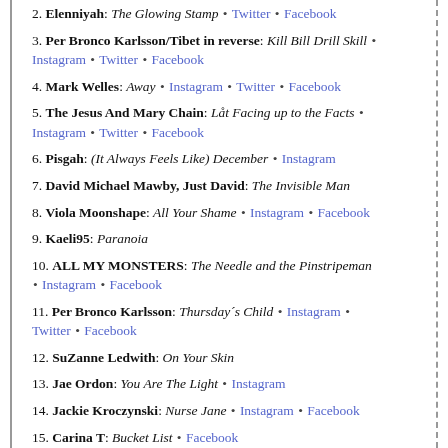2. Elenniyah: The Glowing Stamp • Twitter • Facebook
3. Per Bronco Karlsson/Tibet in reverse: Kill Bill Drill Skill • Instagram • Twitter • Facebook
4. Mark Welles: Away • Instagram • Twitter • Facebook
5. The Jesus And Mary Chain: Låt Facing up to the Facts • Instagram • Twitter • Facebook
6. Pisgah: (It Always Feels Like) December • Instagram
7. David Michael Mawby, Just David: The Invisible Man
8. Viola Moonshape: All Your Shame • Instagram • Facebook
9. Kaeli95: Paranoia
10. ALL MY MONSTERS: The Needle and the Pinstripeman • Instagram • Facebook
11. Per Bronco Karlsson: Thursday´s Child • Instagram • Twitter • Facebook
12. SuZanne Ledwith: On Your Skin
13. Jae Ordon: You Are The Light • Instagram
14. Jackie Kroczynski: Nurse Jane • Instagram • Facebook
15. Carina T: Bucket List • Facebook
16. Moonshine: You Under...and • Instagram • Twitt...